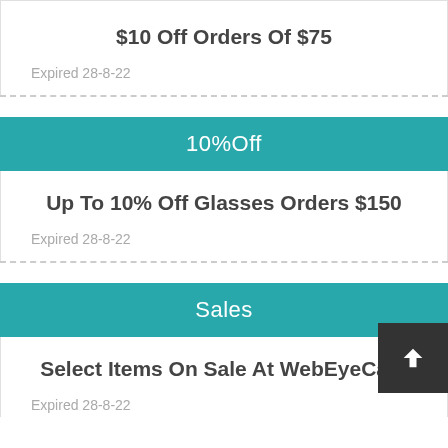$10 Off Orders Of $75
Expired 28-8-22
10%Off
Up To 10% Off Glasses Orders $150
Expired 28-8-22
Sales
Select Items On Sale At WebEyeCare
Expired 28-8-22